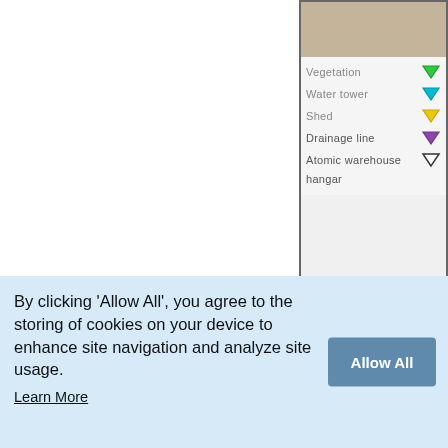[Figure (other): A legend/key panel from a map showing categories: Vegetation (green triangle), Water tower (cyan triangle), Shed (yellow triangle), Drainage line (purple triangle), Atomic warehouse (white/outline triangle), hangar. Above the legend is a textured aerial/map background.]
Figure 5. Comparison of atomic warehouse. Key indicators of the atomic warehouse. Source
[Figure (photo): Photograph of a brick wall building exterior with a white overhang or panel and blue trim visible.]
By clicking 'Allow All', you agree to the storing of cookies on your device to enhance site navigation and analyze site usage.
Learn More